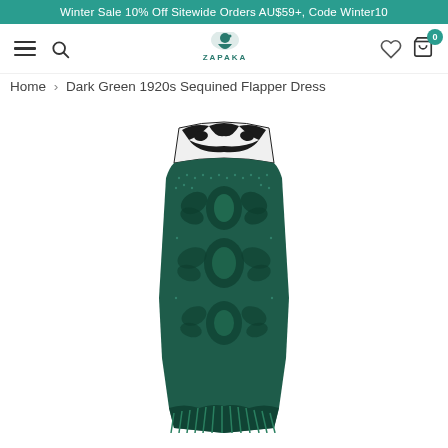Winter Sale 10% Off Sitewide Orders AU$59+, Code Winter10
[Figure (logo): Zapaka brand logo with illustrated woman figure and text ZAPAKA]
Home › Dark Green 1920s Sequined Flapper Dress
[Figure (photo): Dark green 1920s sequined flapper dress product photo on white background, sleeveless with black art deco floral sequin pattern on green fabric, sheer black lace neckline, fringe hem, shown without a model]